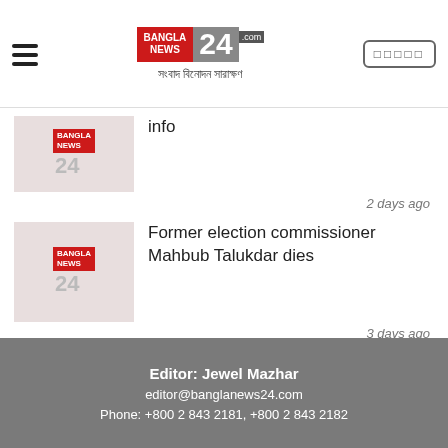BanglaNews24
info
2 days ago
Former election commissioner Mahbub Talukdar dies
3 days ago
RAJUK official jailed for 5 years for corruption
2 days ago
[Figure (screenshot): Find us at Apple AppStore link]
[Figure (screenshot): Find us at Google Play link]
Editor: Jewel Mazhar
editor@banglanews24.com
Phone: +800 2 843 2181, +800 2 843 2182